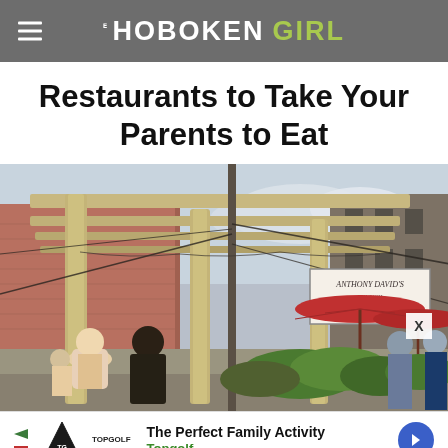THE HOBOKEN GIRL
Restaurants to Take Your Parents to Eat
[Figure (photo): Outdoor dining pergola area on a city street with wooden beam overhead structure, string lights, red umbrellas, and people sitting at tables. A sign reading 'Anthony David's' is visible on the building facade to the right.]
[Figure (infographic): Advertisement banner: The Perfect Family Activity - Topgolf, with Topgolf shield logo and navigation arrow icon]